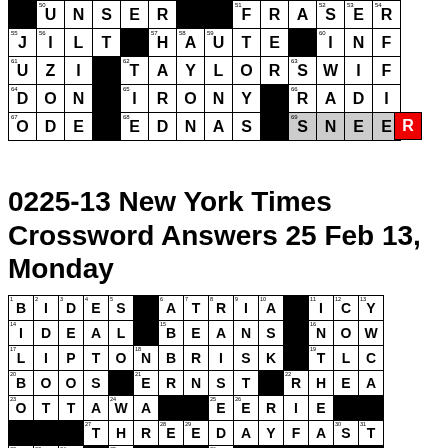[Figure (other): Partial crossword puzzle grid (bottom portion) showing filled answers including UNSER, FRASER, JILT, HAUTE, INFO, UZI, TAYLOR SWIFT, DON, IRONY, RADIO, ODE, EDNAS, SNEER with cell numbers and black/colored squares]
0225-13 New York Times Crossword Answers 25 Feb 13, Monday
[Figure (other): Crossword puzzle grid (top portion) showing filled answers including BIDES, ATRIA, ICY, IDEAL, BEANS, NOW, LIPTON BRISK, TLC, BOOS, ERNST, RHEA, OTTAWA, EERIE, THREE DAY FAST with cell numbers and black squares]